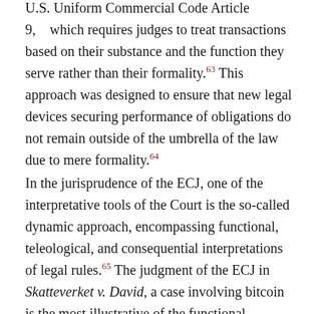U.S. Uniform Commercial Code Article 9, which requires judges to treat transactions based on their substance and the function they serve rather than their formality.63 This approach was designed to ensure that new legal devices securing performance of obligations do not remain outside of the umbrella of the law due to mere formality.64
In the jurisprudence of the ECJ, one of the interpretative tools of the Court is the so-called dynamic approach, encompassing functional, teleological, and consequential interpretations of legal rules.65 The judgment of the ECJ in Skatteverket v. David, a case involving bitcoin is the most illustrative of the functional interpretation pertinent to the topic at hand.66 The case involved the interpretation of the